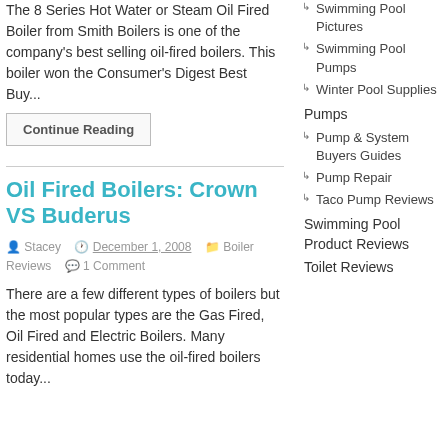The 8 Series Hot Water or Steam Oil Fired Boiler from Smith Boilers is one of the company's best selling oil-fired boilers. This boiler won the Consumer's Digest Best Buy...
Continue Reading
Oil Fired Boilers: Crown VS Buderus
Stacey   December 1, 2008   Boiler Reviews   1 Comment
There are a few different types of boilers but the most popular types are the Gas Fired, Oil Fired and Electric Boilers. Many residential homes use the oil-fired boilers today...
Swimming Pool Pictures
Swimming Pool Pumps
Winter Pool Supplies
Pumps
Pump & System Buyers Guides
Pump Repair
Taco Pump Reviews
Swimming Pool Product Reviews
Toilet Reviews